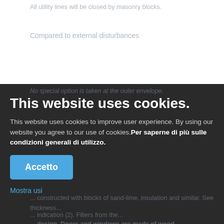All utility lines will be closed by masonry blocks.
Compared to external disturbances
No special option is taken at the outer envelope.
Measures are taken particularly at the introduction.
This website uses cookies.
This website uses cookies to improve user experience. By using our website you agree to our use of cookies. Per saperne di più sulle condizioni generali di utilizzo.
Permeability
Accetto
Mostra usi
... constructed with blocks of sand-lime, insulation and similar. Some thickness...
... indication (2). Filters from the...
... design. Doors and windows are made of wood ...